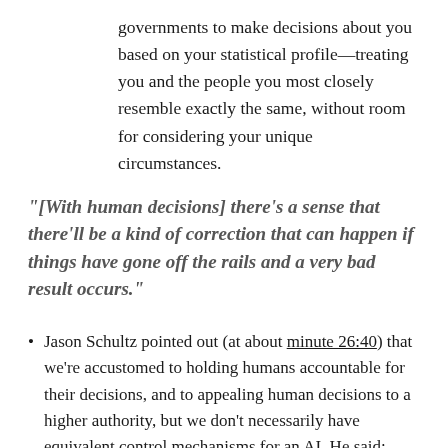governments to make decisions about you based on your statistical profile—treating you and the people you most closely resemble exactly the same, without room for considering your unique circumstances.
"[With human decisions] there's a sense that there'll be a kind of correction that can happen if things have gone off the rails and a very bad result occurs."
Jason Schultz pointed out (at about minute 26:40) that we're accustomed to holding humans accountable for their decisions, and to appealing human decisions to a higher authority, but we don't necessarily have equivalent control mechanisms for an AI. He said: "When we have due process in the